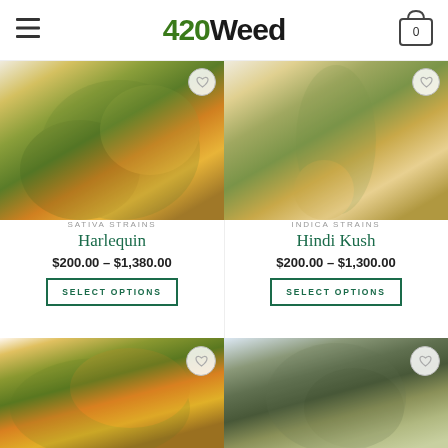420Weed
SATIVA STRAINS
Harlequin
$200.00 – $1,380.00
SELECT OPTIONS
INDICA STRAINS
Hindi Kush
$200.00 – $1,300.00
SELECT OPTIONS
[Figure (photo): Cannabis bud product photo bottom left]
[Figure (photo): Cannabis bud product photo bottom right]